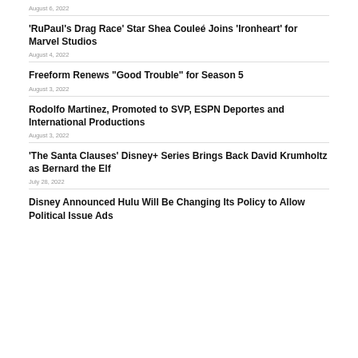August 6, 2022
‘RuPaul’s Drag Race’ Star Shea Couléé Joins ‘Ironheart’ for Marvel Studios
August 4, 2022
Freeform Renews “Good Trouble” for Season 5
August 3, 2022
Rodolfo Martinez, Promoted to SVP, ESPN Deportes and International Productions
August 3, 2022
‘The Santa Clauses’ Disney+ Series Brings Back David Krumholtz as Bernard the Elf
July 28, 2022
Disney Announced Hulu Will Be Changing Its Policy to Allow Political Issue Ads